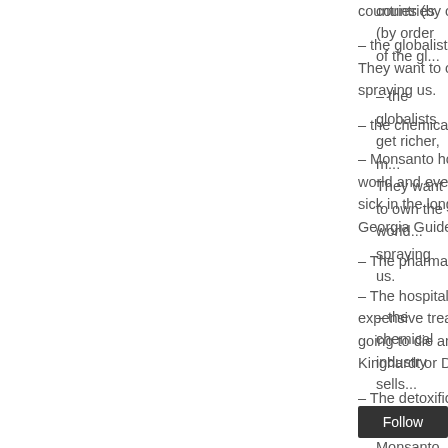countries (by order of the gl...
– the globalists get richer, m... They want to own the world... spraying us.
– the chemical industry sells...
– Monsanto holds patents o... world and everybody will be... sick in the long run – and le... Georgia Guide Stones…De...
– The pharma industry can ...
– The hospitals and medica... expensive treatment of Alzh... going to die anyway (excep... Kinghardt or Dr. Coldwell w...
– The detoxification produce... herbs.